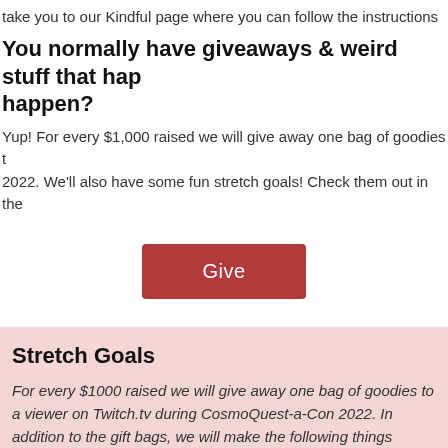take you to our Kindful page where you can follow the instructions
You normally have giveaways & weird stuff that happen?
Yup! For every $1,000 raised we will give away one bag of goodies to a viewer on Twitch.tv during CosmoQuest-a-Con 2022. We'll also have some fun stretch goals! Check them out in the
[Figure (other): Red 'Give' button]
Stretch Goals
For every $1000 raised we will give away one bag of goodies to a viewer on Twitch.tv during CosmoQuest-a-Con 2022. In addition to the gift bags, we will make the following things happen:
$5,000: We'll release a series of Rocket-themed shirts on Red Bubble.